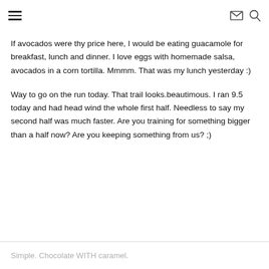≡  ✉ 🔍
If avocados were thy price here, I would be eating guacamole for breakfast, lunch and dinner. I love eggs with homemade salsa, avocados in a corn tortilla. Mmmm. That was my lunch yesterday :)
Way to go on the run today. That trail looks.beautimous. I ran 9.5 today and had head wind the whole first half. Needless to say my second half was much faster. Are you training for something bigger than a half now? Are you keeping something from us? ;)
Simple. Chocolate WITH caramel.